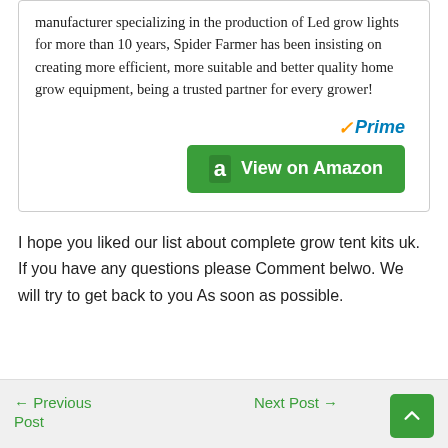manufacturer specializing in the production of Led grow lights for more than 10 years, Spider Farmer has been insisting on creating more efficient, more suitable and better quality home grow equipment, being a trusted partner for every grower!
[Figure (logo): Amazon Prime logo with orange checkmark and blue 'Prime' text, followed by a green 'View on Amazon' button with Amazon 'a' icon]
I hope you liked our list about complete grow tent kits uk. If you have any questions please Comment belwo. We will try to get back to you As soon as possible.
← Previous Post    Next Post →